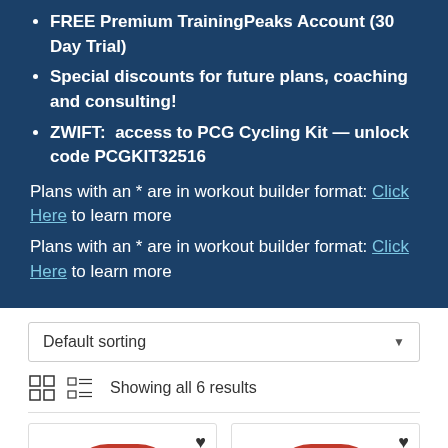FREE Premium TrainingPeaks Account (30 Day Trial)
Special discounts for future plans, coaching and consulting!
ZWIFT:  access to PCG Cycling Kit — unlock code PCGKIT32516
Plans with an * are in workout builder format: Click Here to learn more
Plans with an * are in workout builder format: Click Here to learn more
Default sorting
Showing all 6 results
[Figure (photo): Two product cards showing Tour of the Battenkill cycling event logos — red arch with barn and cyclists, on black background]
[Figure (photo): Scroll to top button (gray square with white up arrow)]